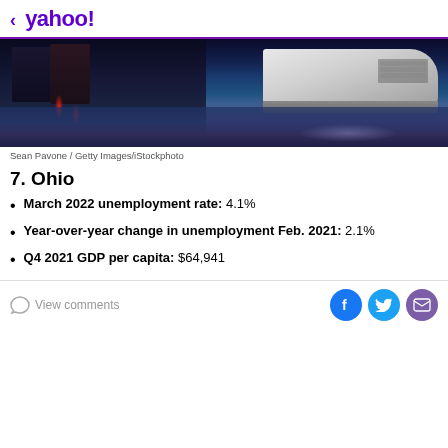< yahoo!
[Figure (photo): Marina scene at night/dusk with a large white yacht docked, colorful reflections of city lights on the water, buildings in background]
Sean Pavone / Getty Images/iStockphoto
7. Ohio
March 2022 unemployment rate: 4.1%
Year-over-year change in unemployment Feb. 2021: 2.1%
Q4 2021 GDP per capita: $64,941
View comments